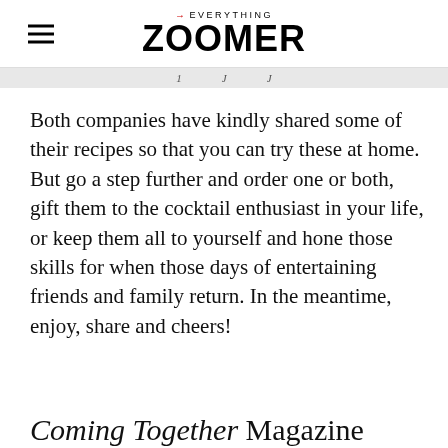→EVERYTHING ZOOMER
Both companies have kindly shared some of their recipes so that you can try these at home. But go a step further and order one or both, gift them to the cocktail enthusiast in your life, or keep them all to yourself and hone those skills for when those days of entertaining friends and family return. In the meantime, enjoy, share and cheers!
Coming Together Magazine